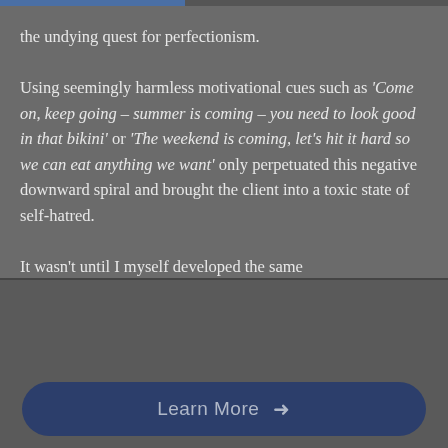the undying quest for perfectionism.

Using seemingly harmless motivational cues such as ‘Come on, keep going – summer is coming – you need to look good in that bikini’ or ‘The weekend is coming, let’s hit it hard so we can eat anything we want’ only perpetuated this negative downward spiral and brought the client into a toxic state of self-hatred.

It wasn’t until I myself developed the same
[Figure (photo): Circular avatar photo of a man smiling, with reddish-brown tones, used as profile image in advertisement]
Get QuickCoach: 100% Free coaching software.
Learn More →